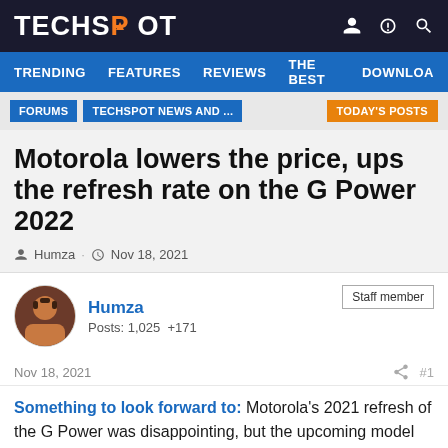TECHSPOT
TRENDING  FEATURES  REVIEWS  THE BEST  DOWNLOA
FORUMS  TECHSPOT NEWS AND ...  TODAY'S POSTS
Motorola lowers the price, ups the refresh rate on the G Power 2022
Humza · Nov 18, 2021
Humza
Posts: 1,025  +171
Staff member
Nov 18, 2021  #1
Something to look forward to: Motorola's 2021 refresh of the G Power was disappointing, but the upcoming model could end up on the budget buyer's shopping list,